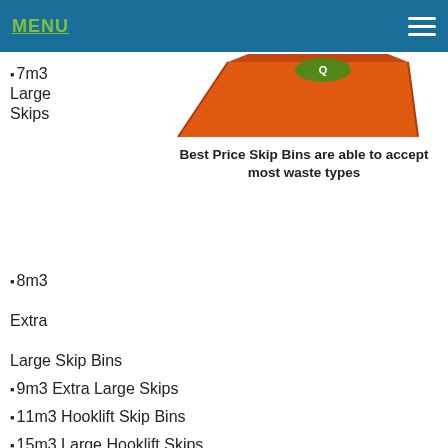MENU
▪7m3 Large Skips
[Figure (photo): Orange skip bin photographed from above at an angle, with a green logo visible on top.]
Best Price Skip Bins are able to accept most waste types
▪8m3 Extra Large Skip Bins
▪9m3 Extra Large Skips
▪11m3 Hooklift Skip Bins
▪15m3 Large Hooklift Skips
▪30m3 Extra Large Hooklift Skip Bins
How do I find the cheapest skips Towradgi?
Easy! Just contact Best Price Skip Bins. You simply